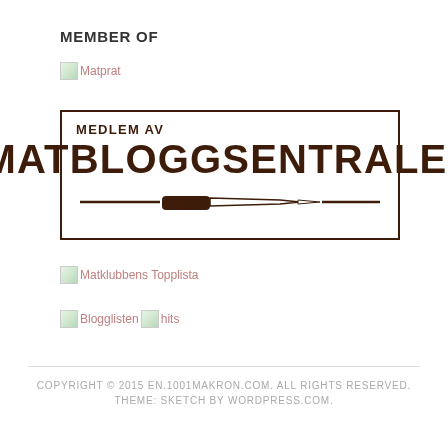MEMBER OF
[Figure (logo): Broken image placeholder with alt text 'Matprat']
[Figure (logo): Matbloggsentralen member badge - rectangular bordered badge with text 'MEDLEM AV MATBLOGGSENTRALEN' and a knife illustration in dark brown]
[Figure (logo): Broken image placeholder with alt text 'Matklubbens Topplista']
[Figure (logo): Broken image placeholders with alt text 'Blogglisten' and 'hits']
COPYRIGHT © 2015 EN.1001MAKRON.COM. ALL RIGHTS RESERVED.
THEME: SKETCH BY WORDPRESS.COM.